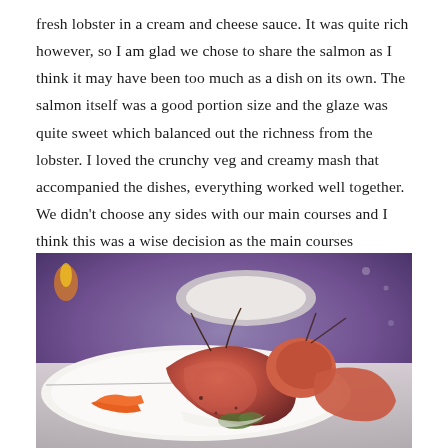fresh lobster in a cream and cheese sauce. It was quite rich however, so I am glad we chose to share the salmon as I think it may have been too much as a dish on its own. The salmon itself was a good portion size and the glaze was quite sweet which balanced out the richness from the lobster. I loved the crunchy veg and creamy mash that accompanied the dishes, everything worked well together. We didn't choose any sides with our main courses and I think this was a wise decision as the main courses themselves were more than enough.
[Figure (photo): A photograph of a cooked lobster/shrimp dish plated on a white plate with garnishes, photographed in a restaurant with ambient purple/blue lighting in the background.]